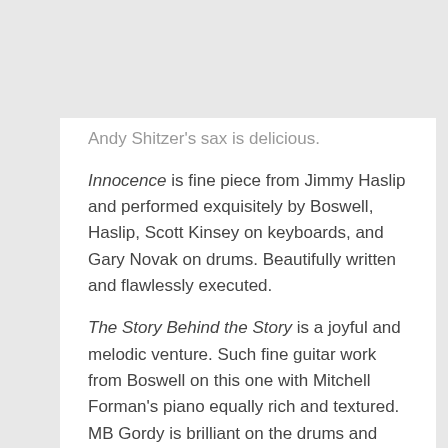[Figure (logo): Kari-On Productions circular logo with orange and black K design]
Andy Shitzer's sax is delicious.
Innocence is fine piece from Jimmy Haslip and performed exquisitely by Boswell, Haslip, Scott Kinsey on keyboards, and Gary Novak on drums. Beautifully written and flawlessly executed.
The Story Behind the Story is a joyful and melodic venture. Such fine guitar work from Boswell on this one with Mitchell Forman's piano equally rich and textured. MB Gordy is brilliant on the drums and Bart Samolis' bass is worthy of attention. A beautiful song.
Prayer for the Planet is the lone solo track and Boswell delivers the ballad with beauty and